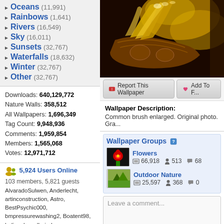Mountains (11,‌...)
Oceans (11,991)
Rainbows (1,641)
Rivers (16,549)
Sky (16,011)
Sunsets (32,767)
Waterfalls (18,632)
Winter (32,767)
Other (32,767)
Downloads: 640,129,772
Nature Walls: 358,512
All Wallpapers: 1,696,349
Tag Count: 9,948,936
Comments: 1,959,854
Members: 1,565,068
Votes: 12,971,712
5,924 Users Online
103 members, 5,821 guests
AlvaradoSulwen, Anderlecht, artinconstruction, Astro, BestPsychic000, bmpressurewashing2, Boatent98, boliou, brandbajade, bridgecounseling, brighterfinance, CarrollDentistry, cell-phone-hacking, chatonfragile, Cleaners567, ColbyRichardson, cortez68341, crypticpixelseo, cupidc657, deborahhinkley, doyleplumbinggroup, driverjoe, duanvinhomescom, dubmovie, enailvietnam, erahobb,
[Figure (photo): Close-up photo of an ornate wooden carved object with golden feathery brush elements, decorative brown carved wood with intricate patterns]
Report This Wallpaper   Add To F...
Wallpaper Description:
Common brush enlarged. Original photo. Gra...
Wallpaper Groups
Flowers
66,918  513  68
Outdoor Nature
25,597  368  0
Leave a comment...
Wallpaper Comments (1)